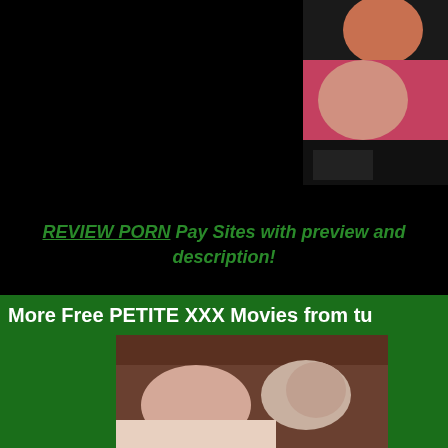[Figure (photo): Top right partial photo on black background]
REVIEW PORN Pay Sites with preview and description!
More Free PETITE XXX Movies from tu
[Figure (photo): Bottom photo on green background]